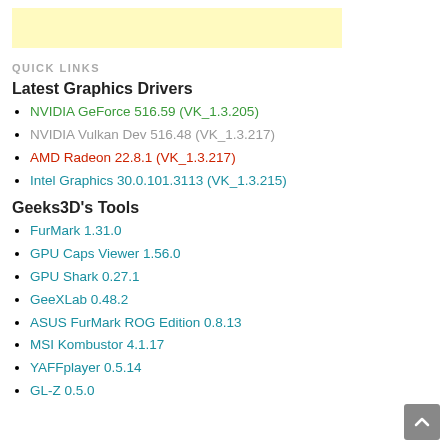[Figure (other): Yellow/cream advertisement banner rectangle]
QUICK LINKS
Latest Graphics Drivers
NVIDIA GeForce 516.59 (VK_1.3.205)
NVIDIA Vulkan Dev 516.48 (VK_1.3.217)
AMD Radeon 22.8.1 (VK_1.3.217)
Intel Graphics 30.0.101.3113 (VK_1.3.215)
Geeks3D's Tools
FurMark 1.31.0
GPU Caps Viewer 1.56.0
GPU Shark 0.27.1
GeeXLab 0.48.2
ASUS FurMark ROG Edition 0.8.13
MSI Kombustor 4.1.17
YAFFplayer 0.5.14
GL-Z 0.5.0